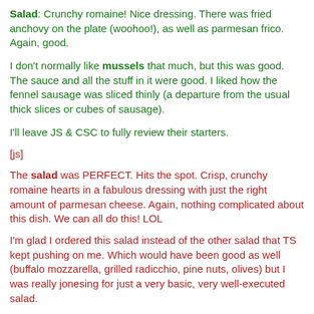Salad: Crunchy romaine! Nice dressing. There was fried anchovy on the plate (woohoo!), as well as parmesan frico. Again, good.
I don't normally like mussels that much, but this was good. The sauce and all the stuff in it were good. I liked how the fennel sausage was sliced thinly (a departure from the usual thick slices or cubes of sausage).
I'll leave JS & CSC to fully review their starters.
[js]
The salad was PERFECT. Hits the spot. Crisp, crunchy romaine hearts in a fabulous dressing with just the right amount of parmesan cheese. Again, nothing complicated about this dish. We can all do this! LOL
I'm glad I ordered this salad instead of the other salad that TS kept pushing on me. Which would have been good as well (buffalo mozzarella, grilled radicchio, pine nuts, olives) but I was really jonesing for just a very basic, very well-executed salad.